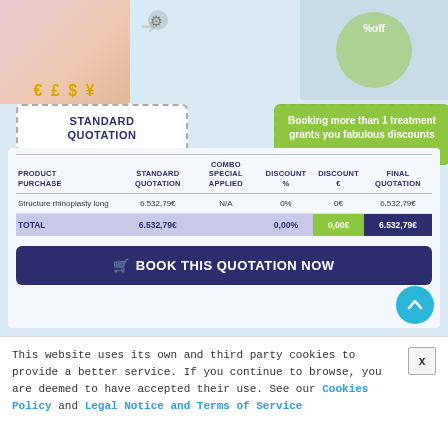[Figure (illustration): Top left image showing a person with currency symbols € £ $ ¥]
[Figure (illustration): Top right image showing combo discount promotional graphic]
STANDARD QUOTATION
6.532,79€
Booking more than 1 treatment grants you fabulous discounts Click here to see our Combo Specials
| PRODUCT PURCHASE | STANDARD QUOTATION | COMBO SPECIAL APPLIED | DISCOUNT % | DISCOUNT € | FINAL QUOTATION |
| --- | --- | --- | --- | --- | --- |
| Structure rhinoplasty long | 6.532,79€ | N/A | 0% | 0€ | 6.532,79€ |
| TOTAL | 6.532,79€ |  | 0,00% | 0,00€ | 6.532,79€ |
🛒 BOOK THIS QUOTATION NOW
This website uses its own and third party cookies to provide a better service. If you continue to browse, you are deemed to have accepted their use. See our Cookies Policy and Legal Notice and Terms of Service